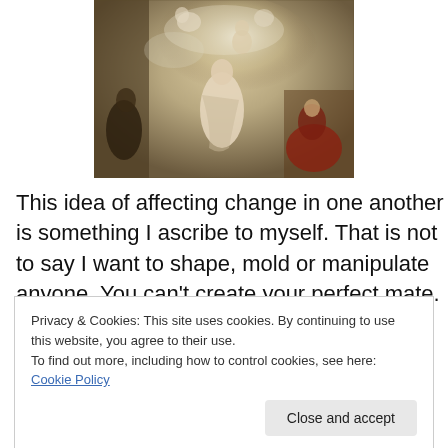[Figure (illustration): A classical Baroque-style painting depicting allegorical figures including a central female figure surrounded by cherubs and angels in soft golden tones, with a red-robed figure kneeling at the lower right.]
This idea of affecting change in one another is something I ascribe to myself. That is not to say I want to shape, mold or manipulate anyone. You can't create your perfect mate.
Privacy & Cookies: This site uses cookies. By continuing to use this website, you agree to their use.
To find out more, including how to control cookies, see here: Cookie Policy
yourself. It is important to note that change or growth in a